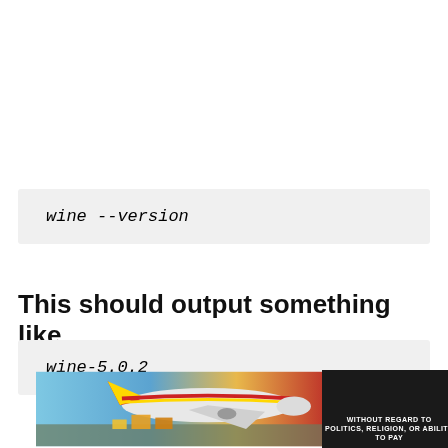wine --version
This should output something like
wine-5.0.2
[Figure (photo): Advertisement banner with airplane cargo loading image and 'WITHOUT REGARD TO POLITICS, RELIGION, OR ABILITY TO PAY' text on dark background]